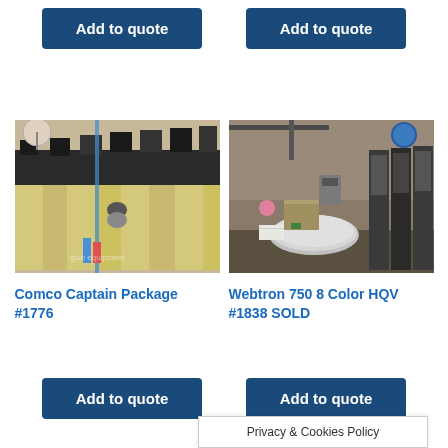Add to quote
Add to quote
[Figure (photo): Industrial printing or labeling machine with multiple stations in a factory setting (Comco Captain Package #1776)]
[Figure (photo): Industrial label printing machine with multiple color heads in a warehouse setting (Webtron 750 8 Color HQV #1838 SOLD)]
Comco Captain Package #1776
Webtron 750 8 Color HQV #1838 SOLD
Add to quote
Add to quote
Privacy & Cookies Policy